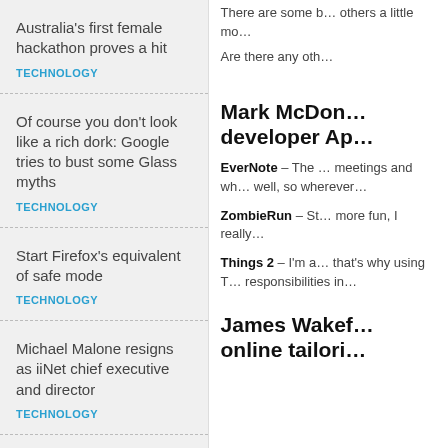Australia's first female hackathon proves a hit
TECHNOLOGY
Of course you don't look like a rich dork: Google tries to bust some Glass myths
TECHNOLOGY
Start Firefox's equivalent of safe mode
TECHNOLOGY
Michael Malone resigns as iiNet chief executive and director
TECHNOLOGY
MicroView geeks in the spotlight with 1500 backers on Kickstarter
There are some b… others a little mo…
Are there any oth…
Mark McDon… developer Ap…
EverNote – The … meetings and wh… well, so wherever…
ZombieRun – St… more fun, I really…
Things 2 – I'm a… that's why using T… responsibilities in…
James Wakef… online tailori…